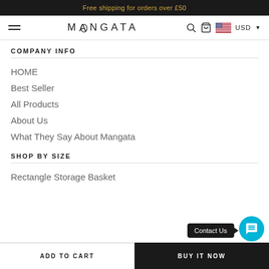Free shipping for orders over £50
[Figure (screenshot): Navigation bar with hamburger menu, MANGATA logo, search icon, cart icon, US flag and USD currency selector]
COMPANY INFO
HOME
Best Seller
All Products
About Us
What They Say About Mangata
SHOP BY SIZE
Rectangle Storage Basket
ADD TO CART   BUY IT NOW